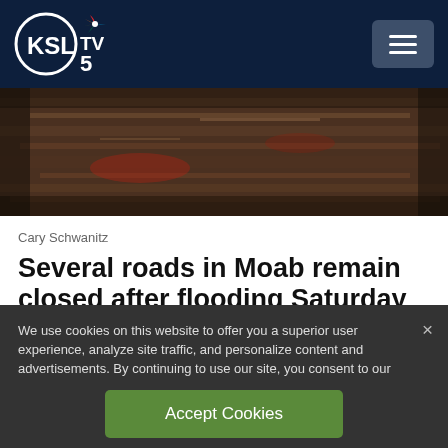KSL TV 5
[Figure (photo): Flood water covering a road at night, reddish-brown murky water reflecting light]
Cary Schwanitz
Several roads in Moab remain closed after flooding Saturday night
We use cookies on this website to offer you a superior user experience, analyze site traffic, and personalize content and advertisements. By continuing to use our site, you consent to our use of cookies. Please visit our Privacy Policy for more information.
Accept Cookies